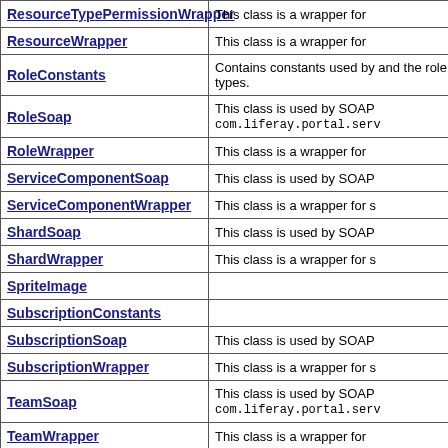| Class | Description |
| --- | --- |
| ResourceTypePermissionWrapper | This class is a wrapper for |
| ResourceWrapper | This class is a wrapper for |
| RoleConstants | Contains constants used by and the role types. |
| RoleSoap | This class is used by SOAP com.liferay.portal.serv |
| RoleWrapper | This class is a wrapper for |
| ServiceComponentSoap | This class is used by SOAP |
| ServiceComponentWrapper | This class is a wrapper for s |
| ShardSoap | This class is used by SOAP |
| ShardWrapper | This class is a wrapper for s |
| SpriteImage |  |
| SubscriptionConstants |  |
| SubscriptionSoap | This class is used by SOAP |
| SubscriptionWrapper | This class is a wrapper for s |
| TeamSoap | This class is used by SOAP com.liferay.portal.serv |
| TeamWrapper | This class is a wrapper for |